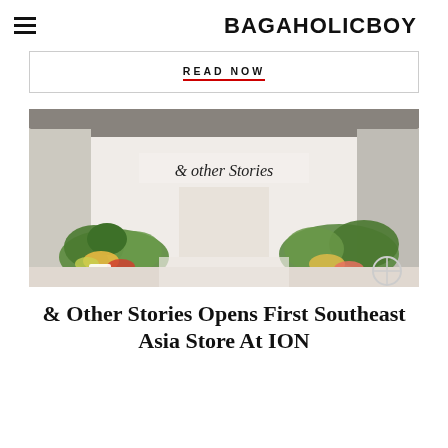BAGAHOLICBOY
READ NOW
[Figure (photo): Interior of & Other Stories store with plants and floral displays lining the entrance walkway, signage reading '& other Stories' above the entrance]
& Other Stories Opens First Southeast Asia Store At ION